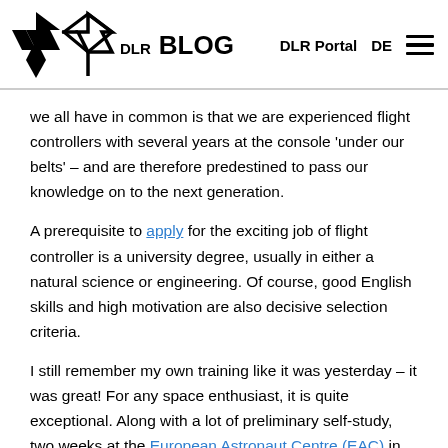DLR BLOG | DLR Portal | DE
we all have in common is that we are experienced flight controllers with several years at the console 'under our belts' – and are therefore predestined to pass our knowledge on to the next generation.
A prerequisite to apply for the exciting job of flight controller is a university degree, usually in either a natural science or engineering. Of course, good English skills and high motivation are also decisive selection criteria.
I still remember my own training like it was yesterday – it was great! For any space enthusiast, it is quite exceptional. Along with a lot of preliminary self-study, two weeks at the European Astronaut Centre (EAC) in Cologne are on the timetable. This is where you receive instruction on the basic functions of